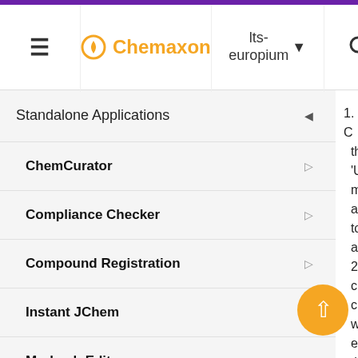Chemaxon — lts-europium
Standalone Applications
ChemCurator
Compliance Checker
Compound Registration
Instant JChem
Markush Editor
Marvin Live
MarvinSketch
Introduction to MarvinSketch